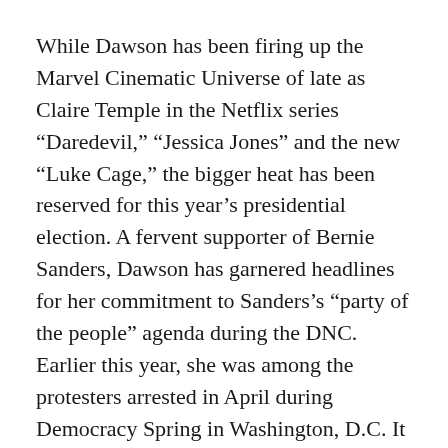While Dawson has been firing up the Marvel Cinematic Universe of late as Claire Temple in the Netflix series “Daredevil,” “Jessica Jones” and the new “Luke Cage,” the bigger heat has been reserved for this year’s presidential election. A fervent supporter of Bernie Sanders, Dawson has garnered headlines for her commitment to Sanders’s “party of the people” agenda during the DNC. Earlier this year, she was among the protesters arrested in April during Democracy Spring in Washington, D.C. It is exactly this fervent desire for change and to continue the conversation of creating a civil and honest society that makes Dawson one of my favorite people to interview.
Whether it was on the set of “Percy Jackson and